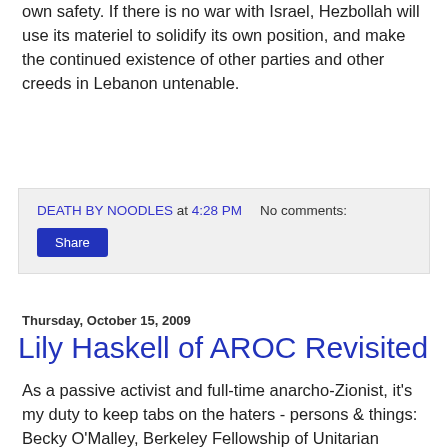own safety. If there is no war with Israel, Hezbollah will use its materiel to solidify its own position, and make the continued existence of other parties and other creeds in Lebanon untenable.
DEATH BY NOODLES at 4:28 PM   No comments:
Share
Thursday, October 15, 2009
Lily Haskell of AROC Revisited
As a passive activist and full-time anarcho-Zionist, it's my duty to keep tabs on the haters - persons & things: Becky O'Malley, Berkeley Fellowship of Unitarian Universalists, The Berkeley Daily Planet, The Anti-Zionist Network (comprised mostly of self-loathing Jews, sadly), and of course my non-friend, Lily Haskell.
So I did a search on her name. She's still in the top 5 hits, though she appears on another fellow Zionist's blog. At the